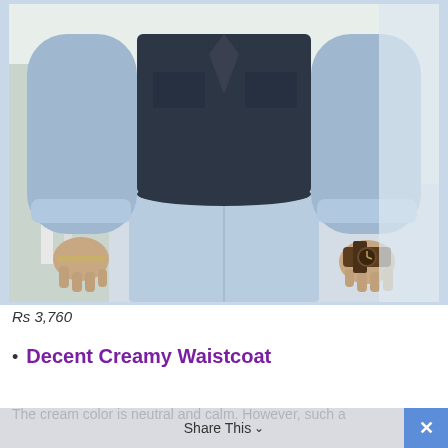[Figure (photo): A man wearing a dark navy waistcoat over a light blue chambray shirt, with a brown leather watch on his right wrist. He is standing near white porch railings. The photo shows the torso and hands of the man.]
Rs 3,760
Decent Creamy Waistcoat
The cream color is neutral and calm. However, such a